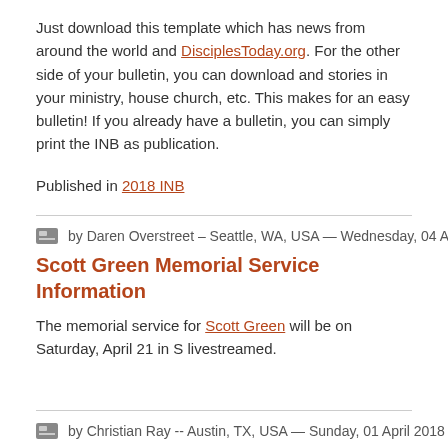Just download this template which has news from around the world and DisciplesToday.org. For the other side of your bulletin, you can download and stories in your ministry, house church, etc. This makes for an easy bulletin! If you already have a bulletin, you can simply print the INB as publication.
Published in 2018 INB
by Daren Overstreet – Seattle, WA, USA — Wednesday, 04 April 2018 10
Scott Green Memorial Service Information
The memorial service for Scott Green will be on Saturday, April 21 in S livestreamed.
by Christian Ray -- Austin, TX, USA — Sunday, 01 April 2018 00:11
MOZHOPE: Lifting Children Out of Poverty in Mozambiqu